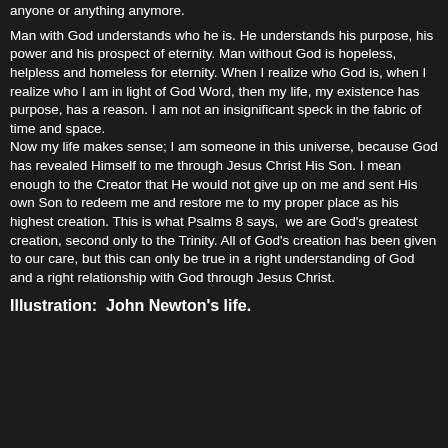anyone or anything anymore.
Man with God understands who he is. He understands his purpose, his power and his prospect of eternity. Man without God is hopeless, helpless and homeless for eternity. When I realize who God is, when I realize who I am in light of God Word, then my life, my existence has purpose, has a reason. I am not an insignificant speck in the fabric of time and space. Now my life makes sense; I am someone in this universe, because God has revealed Himself to me through Jesus Christ His Son. I mean enough to the Creator that He would not give up on me and sent His own Son to redeem me and restore me to my proper place as his highest creation. This is what Psalms 8 says,  we are God's greatest creation, second only to the Trinity. All of God's creation has been given to our care, but this can only be true in a right understanding of God and a right relationship with God through Jesus Christ.
Illustration:  John Newton's life.